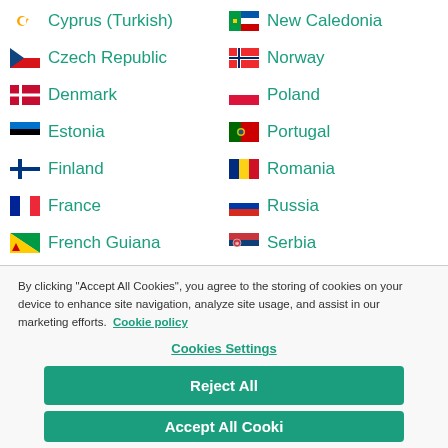Cyprus (Turkish)
New Caledonia
Czech Republic
Norway
Denmark
Poland
Estonia
Portugal
Finland
Romania
France
Russia
French Guiana
Serbia
By clicking "Accept All Cookies", you agree to the storing of cookies on your device to enhance site navigation, analyze site usage, and assist in our marketing efforts. Cookie policy
Cookies Settings
Reject All
Accept All Cookies